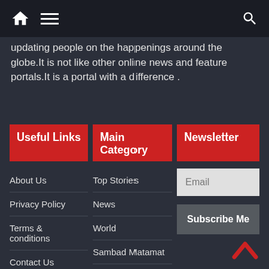Navigation bar with home, menu, and search icons
updating people on the happenings around the globe.It is not like other online news and feature portals.It is a portal with a difference .
Useful Links
About Us
Privacy Policy
Terms & conditions
Contact Us
Main Category
Top Stories
News
World
Sambad Matamat
Global Watch
Business
Sports
Newsletter
Email
Subscribe Me